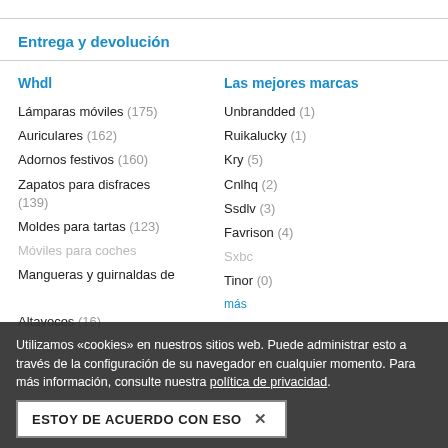Entrega y devolución
Whdl
Las mejores marcas
Lámparas móviles (175)
Auriculares (162)
Adornos festivos (160)
Zapatos para disfraces (139)
Moldes para tartas (123)
Unbrandded (1)
Ruikalucky (1)
Kry (5)
Cnlhq (2)
Ssdlv (3)
Favrison (4)
Utilizamos «cookies» en nuestros sitios web. Puede administrar esto a través de la configuración de su navegador en cualquier momento. Para más información, consulte nuestra política de privacidad.
ESTOY DE ACUERDO CON ESO  ×